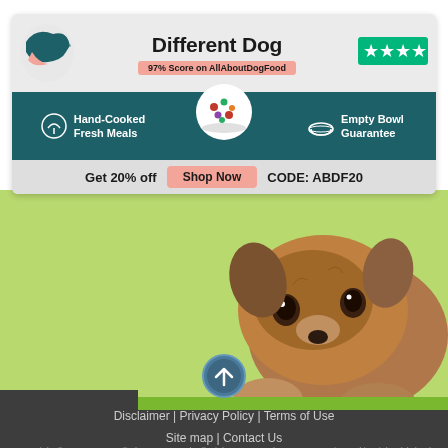[Figure (infographic): Different Dog advertisement banner with logo, brand name, Trustpilot stars, Hand-Cooked Fresh Meals and Empty Bowl Guarantee features, dog food image, Get 20% off Shop Now CODE: ABDF20 promo bar]
[Figure (photo): Close-up photo of a small brown terrier dog peeking over a green ledge]
[Figure (other): Circular up-arrow navigation button]
Disclaimer | Privacy Policy | Terms of Use
Site map | Contact Us
Copyright © 2011—2022 All About Pet Food. All Rights Reserved. Company registered in Finland (why?) #3230956-3